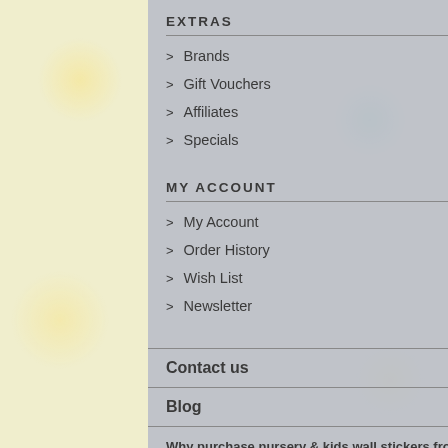EXTRAS
Brands
Gift Vouchers
Affiliates
Specials
MY ACCOUNT
My Account
Order History
Wish List
Newsletter
Contact us
Blog
Why purchase nursery & kids wall stickers from wallstickers4fun?
Free delivery on all orders £40 or above.
Secure Payments with paypal/Credit card
Fast turnaround time.
Easy Returns.
5 star ratings and 100% satisfaction guaranteed.